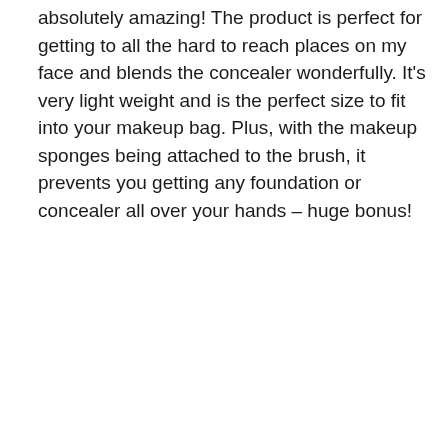absolutely amazing! The product is perfect for getting to all the hard to reach places on my face and blends the concealer wonderfully. It's very light weight and is the perfect size to fit into your makeup bag. Plus, with the makeup sponges being attached to the brush, it prevents you getting any foundation or concealer all over your hands – huge bonus!